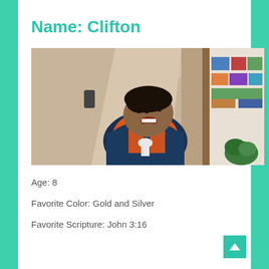Name: Clifton
[Figure (photo): A young boy looking up and laughing, wearing an orange and blue vest/jacket, standing in a hallway with warm-toned walls. A bookshelf with colorful items is visible on the right side.]
Age: 8
Favorite Color: Gold and Silver
Favorite Scripture: John 3:16